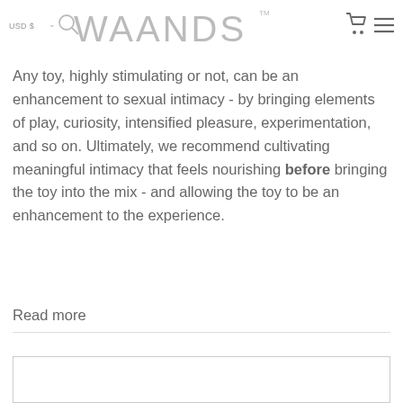USD $ WAANDS™
Any toy, highly stimulating or not, can be an enhancement to sexual intimacy - by bringing elements of play, curiosity, intensified pleasure, experimentation, and so on. Ultimately, we recommend cultivating meaningful intimacy that feels nourishing before bringing the toy into the mix - and allowing the toy to be an enhancement to the experience.
Read more